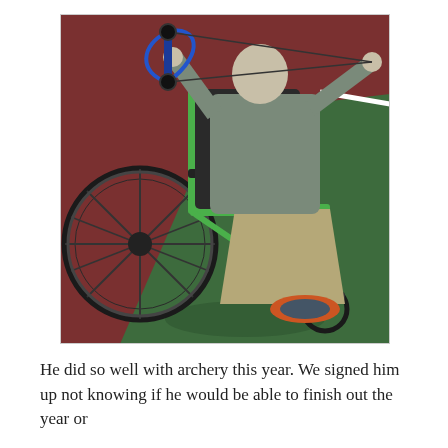[Figure (photo): A person sitting in a green-framed wheelchair on an indoor court floor (dark red and green), drawing a blue compound bow as if doing archery. The person wears a grey hoodie, khaki pants, and orange/grey athletic shoes.]
He did so well with archery this year. We signed him up not knowing if he would be able to finish out the year or